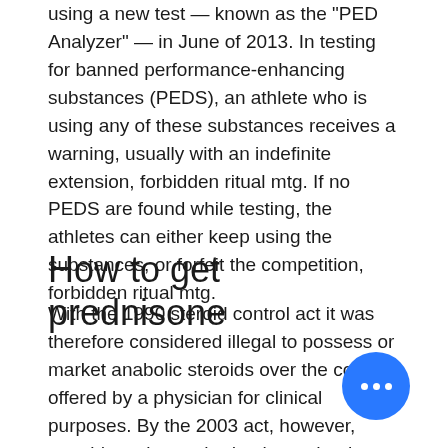using a new test — known as the "PED Analyzer" — in June of 2013. In testing for banned performance-enhancing substances (PEDS), an athlete who is using any of these substances receives a warning, usually with an indefinite extension, forbidden ritual mtg. If no PEDS are found while testing, the athletes can either keep using the substances, or forfeit the competition, forbidden ritual mtg.
How to get prednisone
With the 1990 steroid control act it was therefore considered illegal to possess or market anabolic steroids over the counter offered by a physician for clinical purposes. By the 2003 act, however, steroids no longer had to be under the control of the practitioner of a "registered